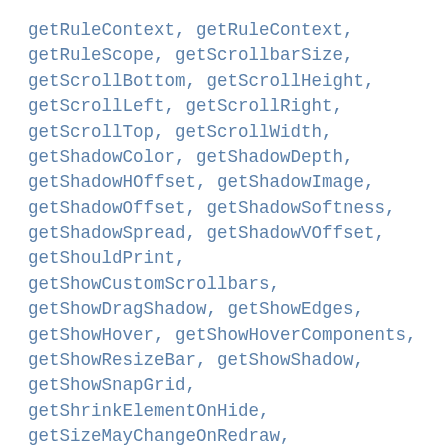getRuleContext, getRuleContext,
getRuleScope, getScrollbarSize,
getScrollBottom, getScrollHeight,
getScrollLeft, getScrollRight,
getScrollTop, getScrollWidth,
getShadowColor, getShadowDepth,
getShadowHOffset, getShadowImage,
getShadowOffset, getShadowSoftness,
getShadowSpread, getShadowVOffset,
getShouldPrint,
getShowCustomScrollbars,
getShowDragShadow, getShowEdges,
getShowHover, getShowHoverComponents,
getShowResizeBar, getShowShadow,
getShowSnapGrid,
getShrinkElementOnHide,
getSizeMayChangeOnRedraw,
getSnapAlignCandidates,
getSnapAlignCenterLineStyle,
getSnapAlignEdgeLineStyle,